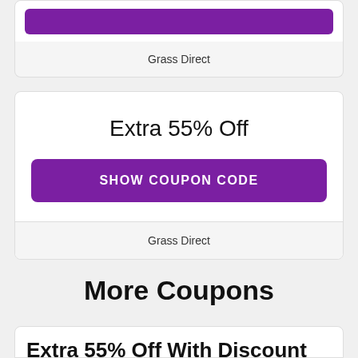[Figure (screenshot): Purple show coupon code button partially visible at top of page]
Grass Direct
Extra 55% Off
SHOW COUPON CODE
Grass Direct
More Coupons
Extra 55% Off With Discount